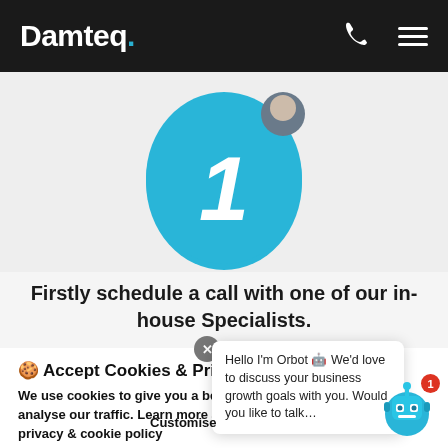Damteq.
[Figure (illustration): Blue speech-bubble shaped circle with large white italic number 1 inside, and a partial avatar peeking from behind the top right]
Firstly schedule a call with one of our in-house Specialists.
🍪 Accept Cookies & Privacy Policy?
We use cookies to give you a better browsing experience and to analyse our traffic. Learn more about our use of your data in our privacy & cookie policy
Customise
Hello I'm Orbot 🤖 We'd love to discuss your business growth goals with you. Would you like to talk...